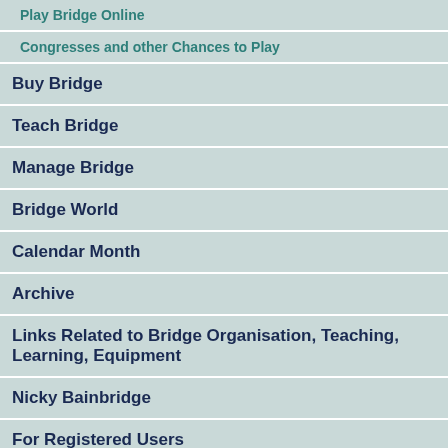Play Bridge Online
Congresses and other Chances to Play
Buy Bridge
Teach Bridge
Manage Bridge
Bridge World
Calendar Month
Archive
Links Related to Bridge Organisation, Teaching, Learning, Equipment
Nicky Bainbridge
For Registered Users
Results Calendar
Administration